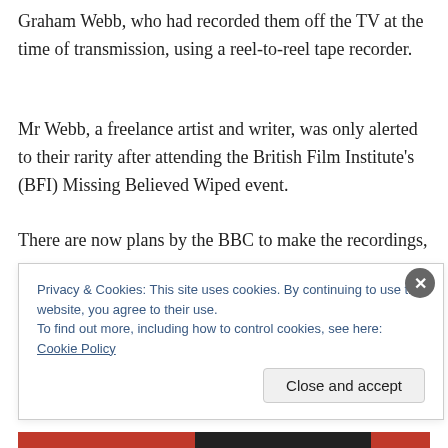Graham Webb, who had recorded them off the TV at the time of transmission, using a reel-to-reel tape recorder.
Mr Webb, a freelance artist and writer, was only alerted to their rarity after attending the British Film Institute's (BFI) Missing Believed Wiped event.
There are now plans by the BBC to make the recordings,
Privacy & Cookies: This site uses cookies. By continuing to use this website, you agree to their use.
To find out more, including how to control cookies, see here: Cookie Policy
Close and accept